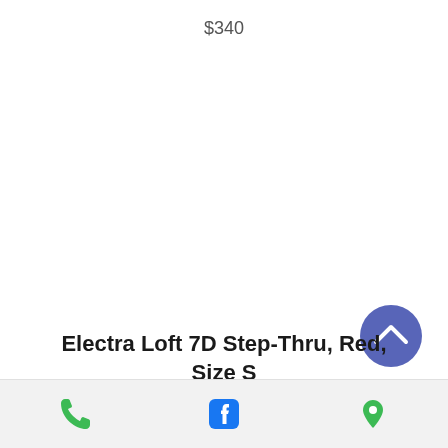$340
Electra Loft 7D Step-Thru, Red, Size S
$629
[Figure (other): Scroll-to-top button: blue circle with white upward chevron arrow]
Phone icon, Facebook icon, Location pin icon